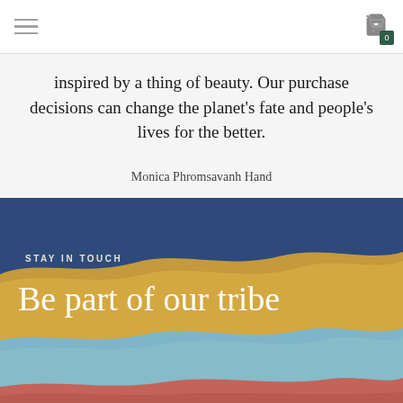Navigation header with hamburger menu and shopping cart (0 items)
inspired by a thing of beauty. Our purchase decisions can change the planet's fate and people's lives for the better.
Monica Phromsavanh Hand
[Figure (illustration): Layered wavy landscape illustration with dark blue, golden/tan, light blue and coral/red wave layers forming a natural landscape scene]
STAY IN TOUCH
Be part of our tribe